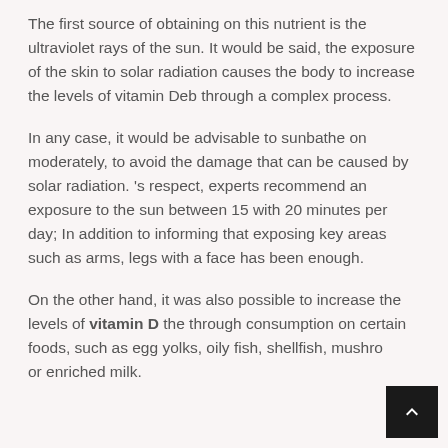The first source of obtaining on this nutrient is the ultraviolet rays of the sun. It would be said, the exposure of the skin to solar radiation causes the body to increase the levels of vitamin Deb through a complex process.
In any case, it would be advisable to sunbathe on moderately, to avoid the damage that can be caused by solar radiation. 's respect, experts recommend an exposure to the sun between 15 with 20 minutes per day; In addition to informing that exposing key areas such as arms, legs with a face has been enough.
On the other hand, it was also possible to increase the levels of vitamin D the through consumption on certain foods, such as egg yolks, oily fish, shellfish, mushrooms or enriched milk.